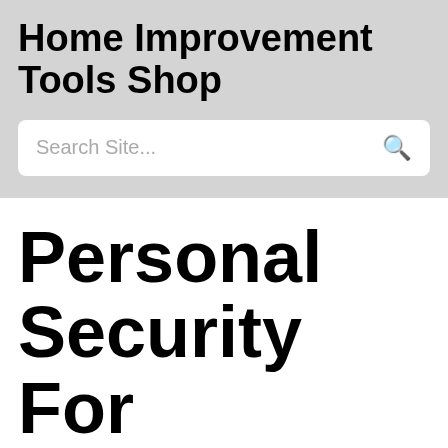Home Improvement Tools Shop
Search Site...
Personal Security For